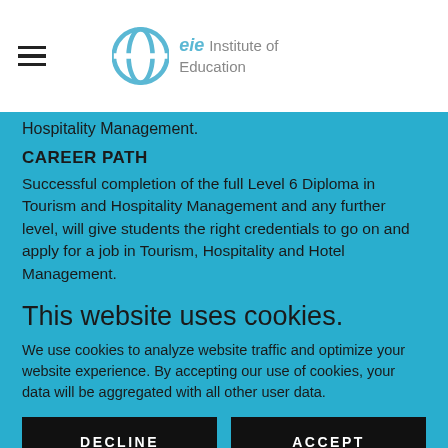eie Institute of Education
Hospitality Management.
CAREER PATH
Successful completion of the full Level 6 Diploma in Tourism and Hospitality Management and any further level, will give students the right credentials to go on and apply for a job in Tourism, Hospitality and Hotel Management.
This website uses cookies.
We use cookies to analyze website traffic and optimize your website experience. By accepting our use of cookies, your data will be aggregated with all other user data.
DECLINE
ACCEPT